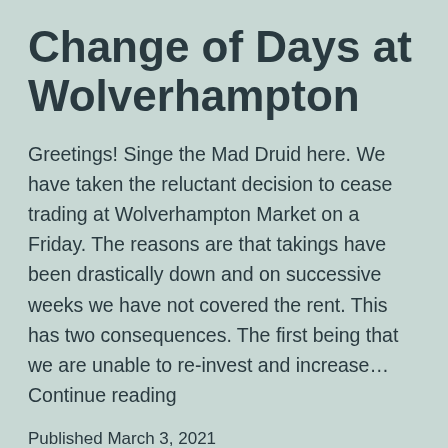Change of Days at Wolverhampton
Greetings! Singe the Mad Druid here. We have taken the reluctant decision to cease trading at Wolverhampton Market on a Friday. The reasons are that takings have been drastically down and on successive weeks we have not covered the rent. This has two consequences. The first being that we are unable to re-invest and increase… Continue reading
Published March 3, 2021